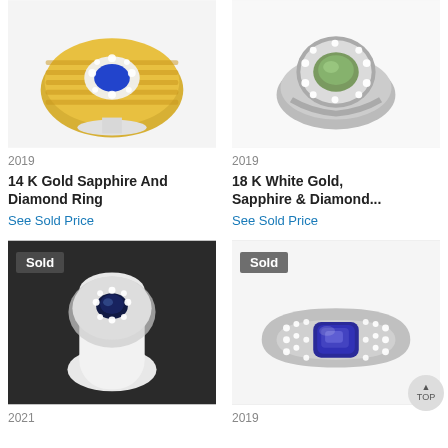[Figure (photo): 14K Gold ring with blue sapphire and diamond halo on display stand, top view]
2019
14 K Gold Sapphire And Diamond Ring
See Sold Price
[Figure (photo): 18K White gold ring with green/olive oval gemstone surrounded by diamond halo]
2019
18 K White Gold, Sapphire & Diamond...
See Sold Price
[Figure (photo): White gold ring with dark blue sapphire and diamond halo on white display stand, with Sold badge]
2021
[Figure (photo): Wide band white gold ring with large blue cushion sapphire surrounded by pavé diamonds, with Sold badge]
2019